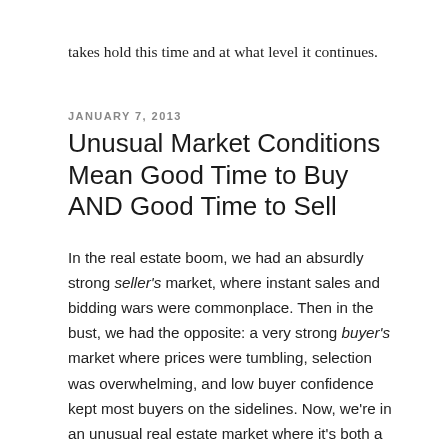takes hold this time and at what level it continues.
JANUARY 7, 2013
Unusual Market Conditions Mean Good Time to Buy AND Good Time to Sell
In the real estate boom, we had an absurdly strong seller's market, where instant sales and bidding wars were commonplace. Then in the bust, we had the opposite: a very strong buyer's market where prices were tumbling, selection was overwhelming, and low buyer confidence kept most buyers on the sidelines. Now, we're in an unusual real estate market where it's both a good time to buy and a good time to sell, at least momentarily.
This is very good news for anyone who's contemplating a